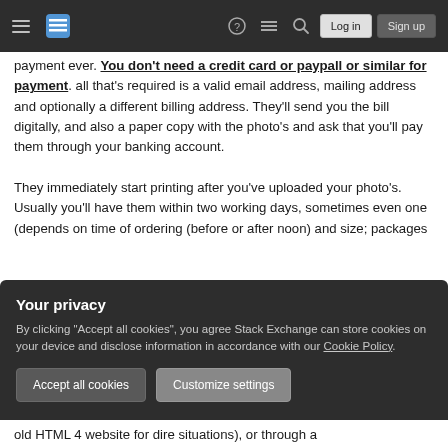Stack Exchange navigation bar with hamburger menu, logo, help icon, chat icon, search icon, Log in button, Sign up button
payment ever. You don't need a credit card or paypall or similar for payment. all that's required is a valid email address, mailing address and optionally a different billing address. They'll send you the bill digitally, and also a paper copy with the photo's and ask that you'll pay them through your banking account.

They immediately start printing after you've uploaded your photo's. Usually you'll have them within two working days, sometimes even one (depends on time of ordering (before or after noon) and size; packages
Your privacy
By clicking "Accept all cookies", you agree Stack Exchange can store cookies on your device and disclose information in accordance with our Cookie Policy.
Accept all cookies   Customize settings
old HTML 4 website for dire situations), or through a